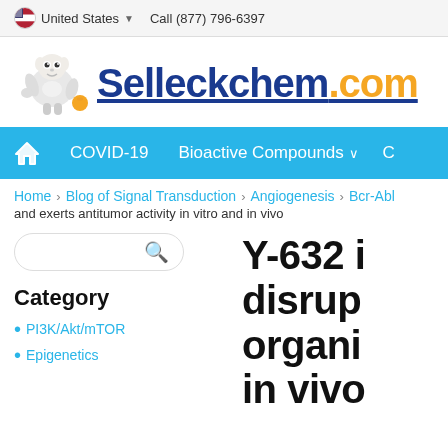United States  Call (877) 796-6397
[Figure (logo): Selleckchem.com logo with mascot robot/character illustration]
COVID-19  Bioactive Compounds  C...
Home > Blog of Signal Transduction > Angiogenesis > Bcr-Abl and exerts antitumor activity in vitro and in vivo
Category
PI3K/Akt/mTOR
Epigenetics
Y-632 i... disrup... organi... in vivo